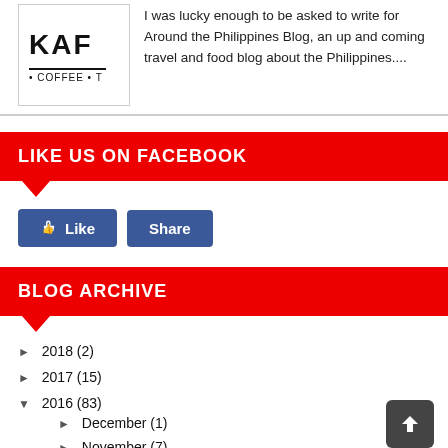[Figure (photo): Thumbnail image showing 'KAF' text with 'COFFEE T...' below on a sign]
I was lucky enough to be asked to write for Around the Philippines Blog, an up and coming travel and food blog about the Philippines....
LIKE US ON FACEBOOK
[Figure (screenshot): Facebook Like and Share buttons]
BLOG ARCHIVE
► 2018 (2)
► 2017 (15)
▼ 2016 (83)
► December (1)
► November (7)
► October (2)
► September (1)
► June (5)
► May (1)
► April (4)...